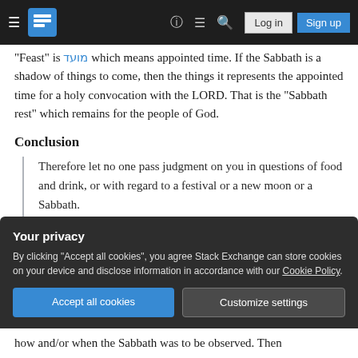Stack Exchange navigation bar with logo, hamburger menu, help, chat, search, Log in, Sign up buttons
"Feast" is מועד which means appointed time. If the Sabbath is a shadow of things to come, then the things it represents the appointed time for a holy convocation with the LORD. That is the "Sabbath rest" which remains for the people of God.
Conclusion
Therefore let no one pass judgment on you in questions of food and drink, or with regard to a festival or a new moon or a Sabbath.
how and/or when the Sabbath was to be observed. Then